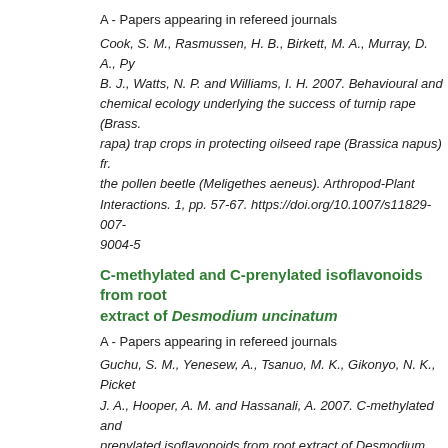A - Papers appearing in refereed journals
Cook, S. M., Rasmussen, H. B., Birkett, M. A., Murray, D. A., Py... B. J., Watts, N. P. and Williams, I. H. 2007. Behavioural and chemical ecology underlying the success of turnip rape (Brass... rapa) trap crops in protecting oilseed rape (Brassica napus) fr... the pollen beetle (Meligethes aeneus). Arthropod-Plant Interactions. 1, pp. 57-67. https://doi.org/10.1007/s11829-007-9004-5
C-methylated and C-prenylated isoflavonoids from root extract of Desmodium uncinatum
A - Papers appearing in refereed journals
Guchu, S. M., Yenesew, A., Tsanuo, M. K., Gikonyo, N. K., Picket... J. A., Hooper, A. M. and Hassanali, A. 2007. C-methylated and prenylated isoflavonoids from root extract of Desmodium uncinatum. Phytochemistry. 68, pp. 646-651. https://doi.org/10.1016/j.phytochem.2006.11.035
Olfactory responses of medically and economically important mites (Acari: Epidermoptidae and Acaridae) t...